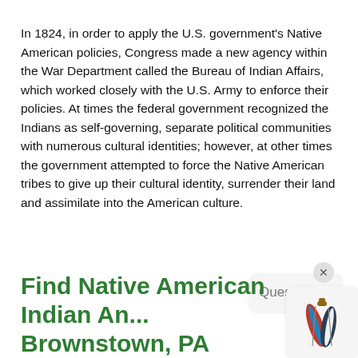In 1824, in order to apply the U.S. government's Native American policies, Congress made a new agency within the War Department called the Bureau of Indian Affairs, which worked closely with the U.S. Army to enforce their policies. At times the federal government recognized the Indians as self-governing, separate political communities with numerous cultural identities; however, at other times the government attempted to force the Native American tribes to give up their cultural identity, surrender their land and assimilate into the American culture.
Find Native American Indian An... Brownstown, PA